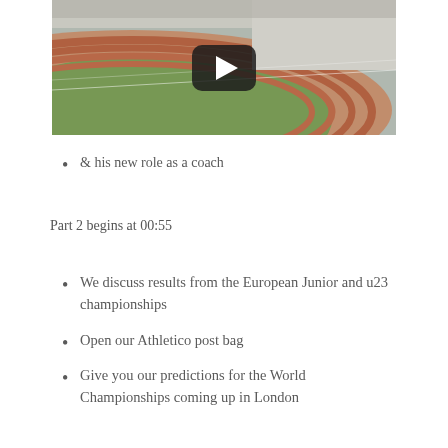[Figure (photo): Aerial view of an athletics stadium track with runners and spectators, with a YouTube-style play button overlay]
& his new role as a coach
Part 2 begins at 00:55
We discuss results from the European Junior and u23 championships
Open our Athletico post bag
Give you our predictions for the World Championships coming up in London